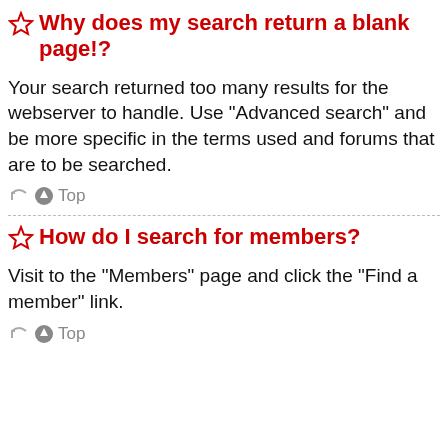Why does my search return a blank page!?
Your search returned too many results for the webserver to handle. Use “Advanced search” and be more specific in the terms used and forums that are to be searched.
Top
How do I search for members?
Visit to the “Members” page and click the “Find a member” link.
Top